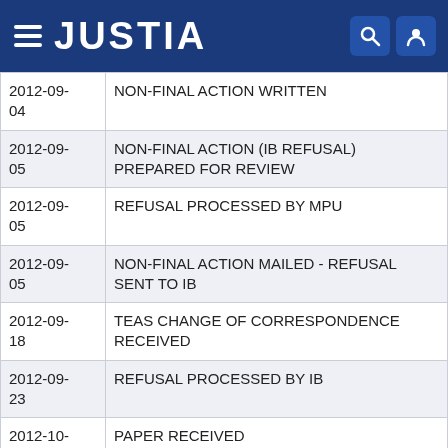JUSTIA
| Date | Event |
| --- | --- |
| 2012-09-04 | NON-FINAL ACTION WRITTEN |
| 2012-09-05 | NON-FINAL ACTION (IB REFUSAL) PREPARED FOR REVIEW |
| 2012-09-05 | REFUSAL PROCESSED BY MPU |
| 2012-09-05 | NON-FINAL ACTION MAILED - REFUSAL SENT TO IB |
| 2012-09-18 | TEAS CHANGE OF CORRESPONDENCE RECEIVED |
| 2012-09-23 | REFUSAL PROCESSED BY IB |
| 2012-10-12 | PAPER RECEIVED |